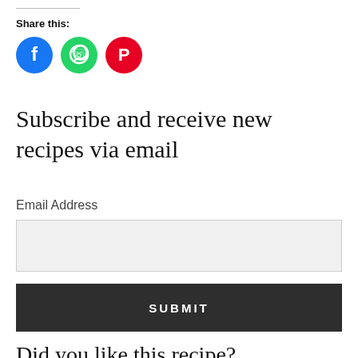Share this:
[Figure (illustration): Three social media share buttons: Facebook (blue circle with f icon), WhatsApp (green circle with phone/chat icon), Pinterest (red circle with P icon)]
Subscribe and receive new recipes via email
Email Address
[Figure (other): Email address input text field (empty, gray background)]
[Figure (other): SUBMIT button (dark gray/charcoal background, white uppercase text)]
Did you like this recipe?
Click on a star to rate it!